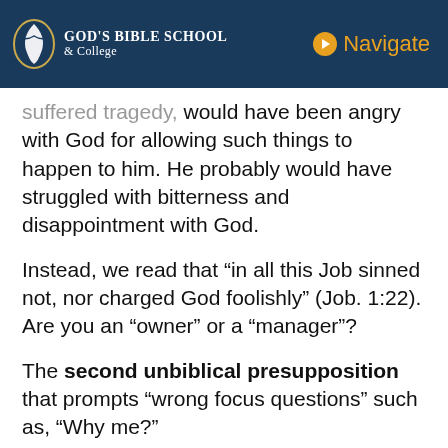God's Bible School & College | Navigate
suffered tragedy, would have been angry with God for allowing such things to happen to him. He probably would have struggled with bitterness and disappointment with God.
Instead, we read that “in all this Job sinned not, nor charged God foolishly” (Job. 1:22). Are you an “owner” or a “manager”?
The second unbiblical presupposition that prompts “wrong focus questions” such as, “Why me?”